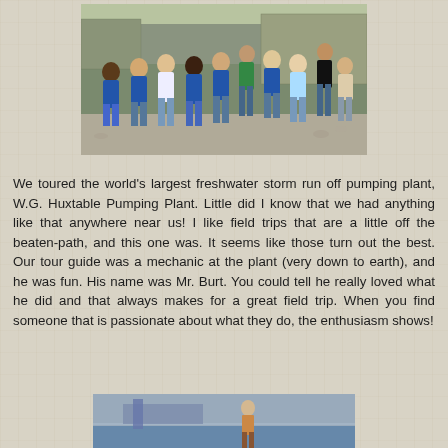[Figure (photo): Group photo of approximately 10 elementary-age children wearing blue Eagles school t-shirts, standing outdoors in front of a structure with gravel ground.]
We toured the world's largest freshwater storm run off pumping plant, W.G. Huxtable Pumping Plant. Little did I know that we had anything like that anywhere near us! I like field trips that are a little off the beaten-path, and this one was. It seems like those turn out the best. Our tour guide was a mechanic at the plant (very down to earth), and he was fun. His name was Mr. Burt. You could tell he really loved what he did and that always makes for a great field trip. When you find someone that is passionate about what they do, the enthusiasm shows!
[Figure (photo): Partial photo visible at bottom of page showing outdoor scene near water or industrial area with a person visible.]